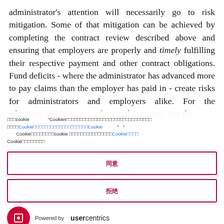administrator's attention will necessarily go to risk mitigation. Some of that mitigation can be achieved by completing the contract review described above and ensuring that employers are properly and timely fulfilling their respective payment and other contract obligations. Fund deficits - where the administrator has advanced more to pay claims than the employer has paid in - create risks for administrators and employers alike. For the administrator, it creates a financial exposure. For the
cookie "Cookies" Cookie Cookie Cookie cookie Cookie Cookie
同意
拒绝
Powered by usercentrics